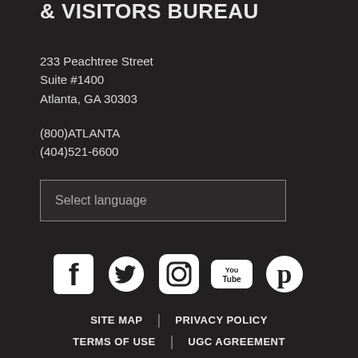& VISITORS BUREAU
233 Peachtree Street
Suite #1400
Atlanta, GA 30303
(800)ATLANTA
(404)521-6600
Select language
[Figure (infographic): Row of social media icons: Facebook, Twitter, Instagram, YouTube, Pinterest — all white on dark background]
SITE MAP | PRIVACY POLICY
TERMS OF USE | UGC AGREEMENT